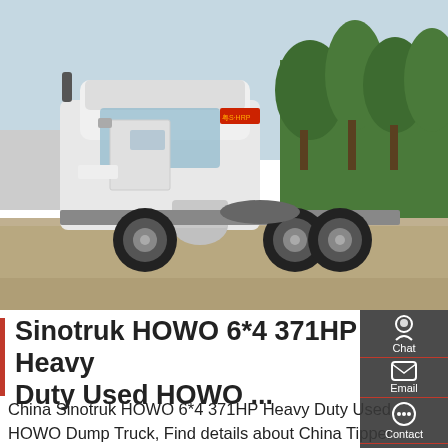[Figure (photo): A white Sinotruk HOWO 6x4 heavy duty truck (tractor unit) parked on a concrete surface with trees in the background. The truck is photographed from the side-front angle showing its cab and rear axles.]
Sinotruk HOWO 6*4 371HP Heavy Duty Used HOWO ...
China Sinotruk HOWO 6*4 371HP Heavy Duty Used HOWO Dump Truck, Find details about China Tipper Truck, HOWO Truck from Sinotruk HOWO 6*4 371HP Heavy Duty Used HOWO Dump Truck - QINGTE GROUP SPECIAL VEHICLES CO., LIMITED Engine . Model. SINOTRUK WD615.69, we will buy some second hand truck with good condition and put